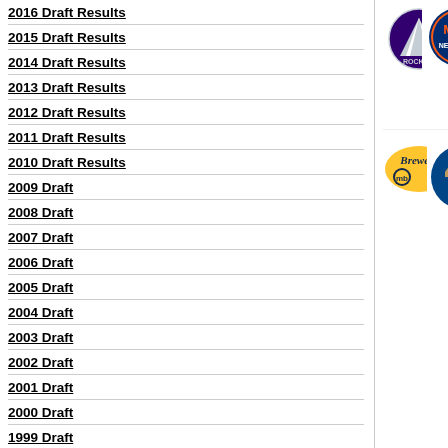2016 Draft Results
2015 Draft Results
2014 Draft Results
2013 Draft Results
2012 Draft Results
2011 Draft Results
2010 Draft Results
2009 Draft
2008 Draft
2007 Draft
2006 Draft
2005 Draft
2004 Draft
2003 Draft
2002 Draft
2001 Draft
2000 Draft
1999 Draft
1998 Draft
1997 Draft
1996 Draft
1995 Draft
1994 Draft
[Figure (logo): Colorado Rockies MLB team logo]
Ht/Wt:/ lbs
Position: SS
School: Paradise Valley HS (Phoenix,AZ)
[Figure (logo): New York Mets MLB team logo]
Ht/Wt:/ lbs
Position: (partially visible)
[Figure (logo): Milwaukee Brewers MLB team logo]
Draft#:1454
Robert Cornett
Ht/Wt:/ lbs
Position: C
School: North Hall HS (Gainesville,GA)
[Figure (logo): Kansas City Royals MLB team logo]
Dra...
Me...
Ht/...
Pos...
Sch...
(Cu...)